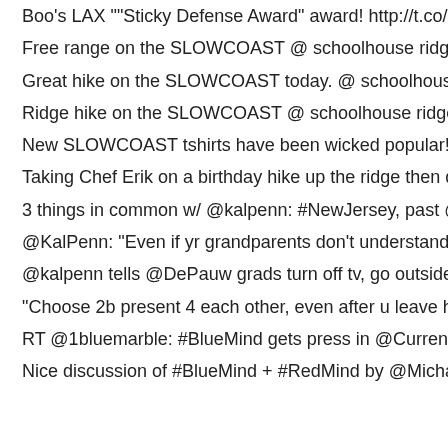Boo's LAX ""Sticky Defense Award" award! http://t.co/G9B3…
Free range on the SLOWCOAST @ schoolhouse ridge http:/…
Great hike on the SLOWCOAST today. @ schoolhouse ridge…
Ridge hike on the SLOWCOAST @ schoolhouse ridge http:/…
New SLOWCOAST tshirts have been wicked popular! @ SL…
Taking Chef Erik on a birthday hike up the ridge then dinner…
3 things in common w/ @kalpenn: #NewJersey, past @DePa…
@KalPenn: "Even if yr grandparents don't understand how y…
@kalpenn tells @DePauw grads turn off tv, go outside, volu…
"Choose 2b present 4 each other, even after u leave here to…
RT @1bluemarble: #BlueMind gets press in @CurrentBiology…
Nice discussion of #BlueMind + #RedMind by @MichaelGr…